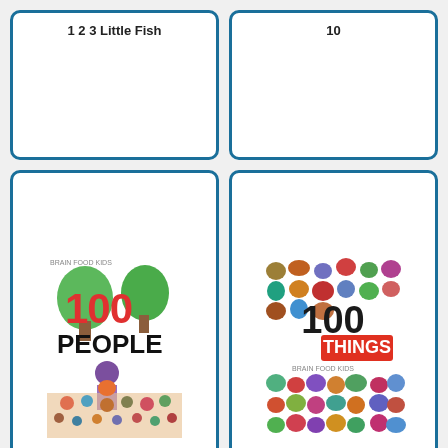[Figure (illustration): Book card for '1 2 3 Little Fish' - top partial card visible, title at top]
1 2 3 Little Fish
[Figure (illustration): Book card for '10' - top partial card visible, title at top]
10
[Figure (illustration): Book card showing cover of '100 People' with illustrated crowd of diverse people and trees]
100 People
[Figure (illustration): Book card showing cover of '100 Things' with colorful illustrations of 100 different animals/objects]
100 Things
[Figure (illustration): Book card showing cover of 'The 100th Customer' - partially visible at bottom]
[Figure (illustration): Book card showing cover of '1 2 3 Little Donkey' with red background - partially visible at bottom]